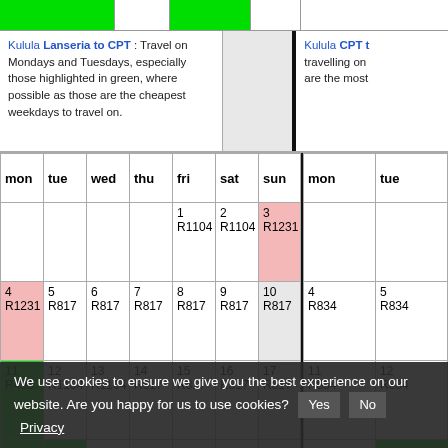Kulula Lanseria to CPT : Travel on Mondays and Tuesdays, especially those highlighted in green, where possible as those are the cheapest weekdays to travel on.
Kulula CPT t... travelling on... are the most...
| mon | tue | wed | thu | fri | sat | sun | mon | tue |
| --- | --- | --- | --- | --- | --- | --- | --- | --- |
|  |  |  |  | 1 R1104 | 2 R1104 | 3 R1231 |  |  |
| 4 R1231 | 5 R817 | 6 R817 | 7 R817 | 8 R817 | 9 R817 | 10 R817 | 4 R834 | 5 R834 |
| 11 R495 | 12 R1104 | 13 R1104 | 14 R817 | 15 R817 | 16 R817 | 17 R817 | 11 R834 | 12 R834 |
We use cookies to ensure we give you the best experience on our website. Are you happy for us to use cookies?